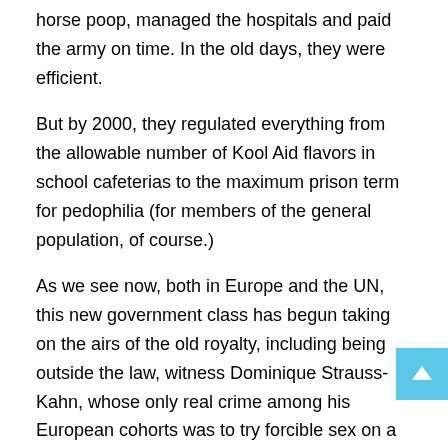horse poop, managed the hospitals and paid the army on time. In the old days, they were efficient.
But by 2000, they regulated everything from the allowable number of Kool Aid flavors in school cafeterias to the maximum prison term for pedophilia (for members of the general population, of course.)
As we see now, both in Europe and the UN, this new government class has begun taking on the airs of the old royalty, including being outside the law, witness Dominique Strauss-Kahn, whose only real crime among his European cohorts was to try forcible sex on a hotel staff member in an unreliable venue. Europe's disappointment in New York City far exceeds its disappointment in DSK.
So far, I've said little of the “capitalist” class here for people of